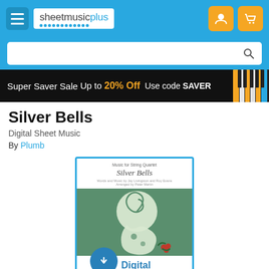[Figure (screenshot): Sheet Music Plus website header with blue background, hamburger menu icon, sheetmusicplus logo, and orange user/cart icons]
[Figure (screenshot): Search bar on blue background with magnifying glass icon]
[Figure (screenshot): Black promotional banner: Super Saver Sale Up to 20% Off Use code SAVER with piano keys image on right]
Silver Bells
Digital Sheet Music
By Plumb
[Figure (photo): Sheet music cover for Silver Bells arranged for String Quartet, showing a stylized violin scroll illustration on green background, with a Digital Download badge overlay at the bottom]